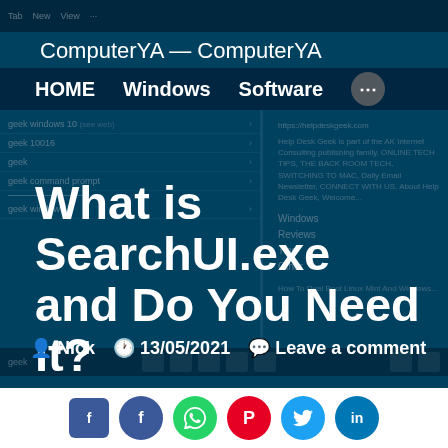ComputerYA — ComputerYA
HOME  Windows  Software  •••
What is SearchUI.exe and Do You Need It?
Nick  13/05/2021  Leave a comment
[Figure (screenshot): Screenshot of a web browser showing a search results page with a dark teal/blue theme overlay, showing navigation items including 'geek windows 10', 'geek 10016', 'geek', 'geek command prompt', 'geek windows 7' on the left, and a right panel with Help Desk Geek website preview. Bottom taskbar visible.]